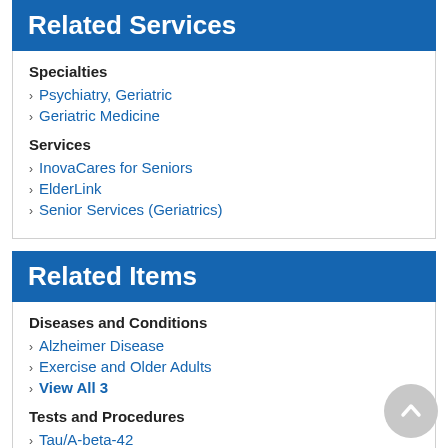Related Services
Specialties
Psychiatry, Geriatric
Geriatric Medicine
Services
InovaCares for Seniors
ElderLink
Senior Services (Geriatrics)
Related Items
Diseases and Conditions
Alzheimer Disease
Exercise and Older Adults
View All 3
Tests and Procedures
Tau/A-beta-42
Articles